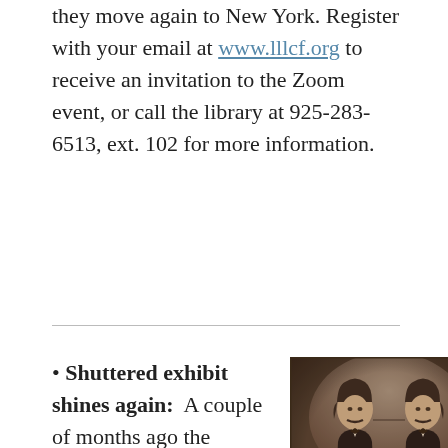they move again to New York. Register with your email at www.lllcf.org to receive an invitation to the Zoom event, or call the library at 925-283-6513, ext. 102 for more information.
• Shuttered exhibit shines again: A couple of months ago the Contemporary Jewish Museum in San Francisco opened a new exhibit exploring the photographic wonders of New York's famed Zohar
[Figure (photo): Sepia-toned vintage photograph of two men with long hair and mustaches, wearing dark suits with bow ties, seated side by side]